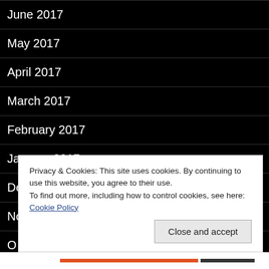June 2017
May 2017
April 2017
March 2017
February 2017
January 2017
December 2016
November 2016
Privacy & Cookies: This site uses cookies. By continuing to use this website, you agree to their use.
To find out more, including how to control cookies, see here: Cookie Policy
Close and accept